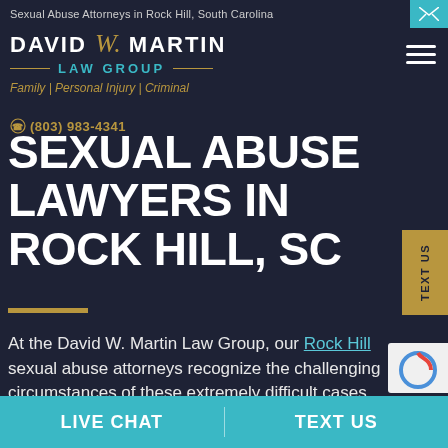Sexual Abuse Attorneys in Rock Hill, South Carolina
[Figure (logo): David W. Martin Law Group logo with firm name in white bold uppercase text, stylized script W in gold, law group text in teal, and tagline 'Family | Personal Injury | Criminal' in gold italic]
(803) 983-4341
SEXUAL ABUSE LAWYERS IN ROCK HILL, SC
At the David W. Martin Law Group, our Rock Hill sexual abuse attorneys recognize the challenging circumstances of these extremely difficult cases and do everything we can to protect our clients from suffering any
LIVE CHAT   TEXT US